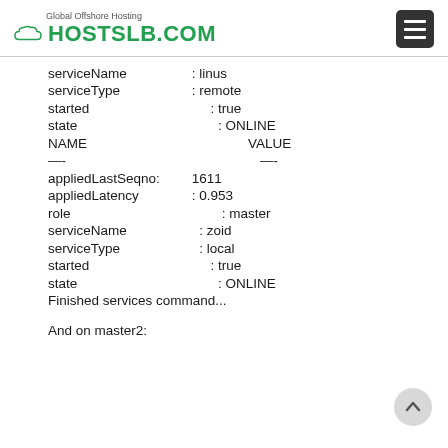Global Offshore Hosting HOSTSLB.COM
serviceName    : linus
serviceType    : remote
started        : true
state          : ONLINE
NAME               VALUE
—-               —-
appliedLastSeqno: 1611
appliedLatency  : 0.953
role           : master
serviceName    : zoid
serviceType    : local
started        : true
state          : ONLINE
Finished services command...

And on master2: